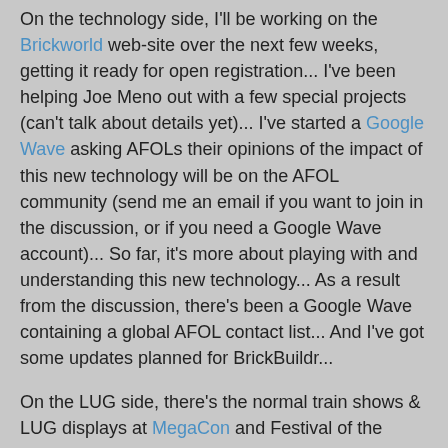On the technology side, I'll be working on the Brickworld web-site over the next few weeks, getting it ready for open registration... I've been helping Joe Meno out with a few special projects (can't talk about details yet)... I've started a Google Wave asking AFOLs their opinions of the impact of this new technology will be on the AFOL community (send me an email if you want to join in the discussion, or if you need a Google Wave account)... So far, it's more about playing with and understanding this new technology... As a result from the discussion, there's been a Google Wave containing a global AFOL contact list... And I've got some updates planned for BrickBuildr...
On the LUG side, there's the normal train shows & LUG displays at MegaCon and Festival of the Masters, but next year Star Wars Celebration V will be coming to Orlando, Aug. 12-15, 2010... the LUG will be looking into doing a display at CV... if we get display space, we're thinking about asking other LUGs to join us...
There's probably other things I'm forgetting about for next year...